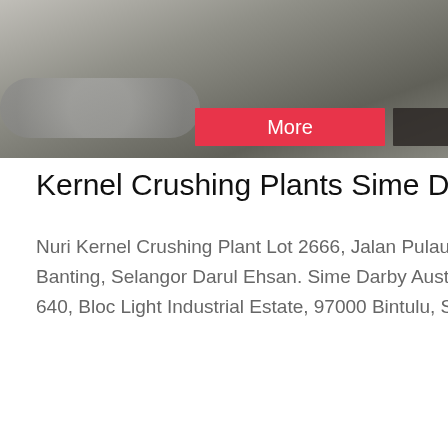[Figure (photo): Mining/quarry site with heavy machinery and rocks, with 'More' and 'Online Chat' buttons overlaid]
Kernel Crushing Plants Sime Darby Plantation
Nuri Kernel Crushing Plant Lot 2666, Jalan Pulau Carey, Carey Island, 42960 Banting, Selangor Darul Ehsan. Sime Darby Austral Kernel Crushing Plant Lot 640, Blo... Light Industrial Estate, 97000 Bintulu, Saraw...
[Figure (photo): Industrial crushing plant structure with conveyor belts and silos under blue sky]
[Figure (photo): 24Hrs Online chat widget with female agent wearing headset, 'Need questions & suggestion?' and 'Chat Now' button]
Chat Online